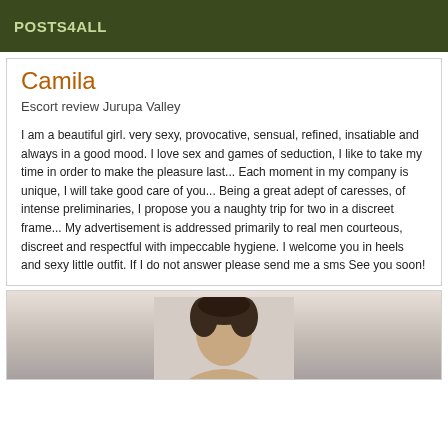POSTS4ALL
Camila
Escort review Jurupa Valley
I am a beautiful girl. very sexy, provocative, sensual, refined, insatiable and always in a good mood. I love sex and games of seduction, I like to take my time in order to make the pleasure last... Each moment in my company is unique, I will take good care of you... Being a great adept of caresses, of intense preliminaries, I propose you a naughty trip for two in a discreet frame... My advertisement is addressed primarily to real men courteous, discreet and respectful with impeccable hygiene. I welcome you in heels and sexy little outfit. If I do not answer please send me a sms See you soon!
[Figure (photo): Partial photo of a person with dark hair, cropped at head level, with a light colored background.]